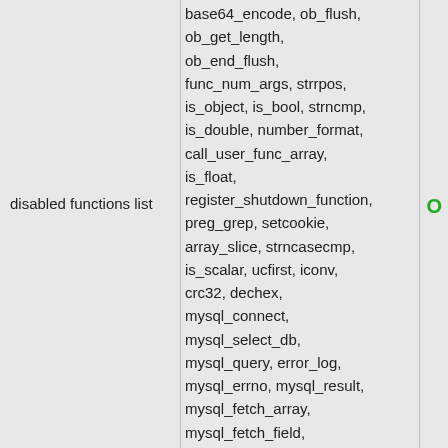disabled functions list
base64_encode, ob_flush, ob_get_length, ob_end_flush, func_num_args, strrpos, is_object, is_bool, strncmp, is_double, number_format, call_user_func_array, is_float, register_shutdown_function, preg_grep, setcookie, array_slice, strncasecmp, is_scalar, ucfirst, iconv, crc32, dechex, mysql_connect, mysql_select_db, mysql_query, error_log, mysql_errno, mysql_result, mysql_fetch_array, mysql_fetch_field, mysql_free_result, mysql_insert_id, mysql_affected_rows, preg_split, current, trigger_error, array_diff, debug_backtrace, rmdir,
O